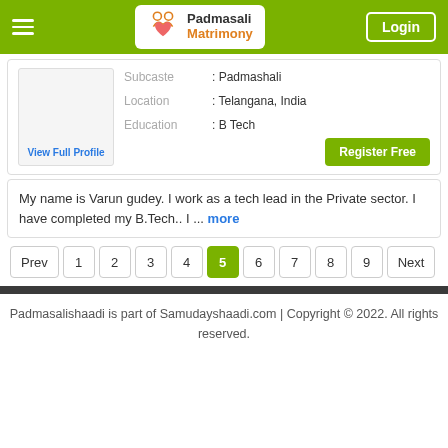Padmasali Matrimony — Login
Subcaste : Padmashali
Location : Telangana, India
Education : B Tech
View Full Profile
Register Free
My name is Varun gudey. I work as a tech lead in the Private sector. I have completed my B.Tech.. I ... more
Prev 1 2 3 4 5 6 7 8 9 Next
Padmasalishaadi is part of Samudayshaadi.com | Copyright © 2022. All rights reserved.